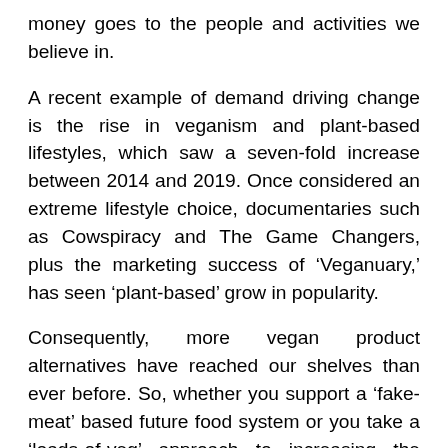money goes to the people and activities we believe in.
A recent example of demand driving change is the rise in veganism and plant-based lifestyles, which saw a seven-fold increase between 2014 and 2019. Once considered an extreme lifestyle choice, documentaries such as Cowspiracy and The Game Changers, plus the marketing success of ‘Veganuary,’ has seen ‘plant-based’ grow in popularity.
Consequently, more vegan product alternatives have reached our shelves than ever before. So, whether you support a ‘fake-meat’ based future food system or you take a ‘loads-of-veg’ approach to increasing the plants in your diet, it’s definitely an upward trend that’s set to continue throughout 2021.
The corporation conundrum